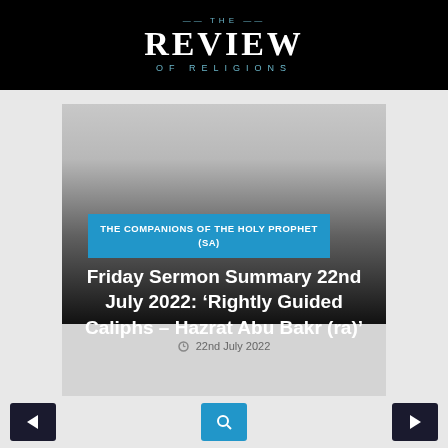THE REVIEW OF RELIGIONS
[Figure (screenshot): Article card with gray gradient image area, blue category badge, and white title text on dark background]
THE COMPANIONS OF THE HOLY PROPHET (SA)
Friday Sermon Summary 22nd July 2022: ‘Rightly Guided Caliphs – Hazrat Abu Bakr (ra)’
22nd July 2022